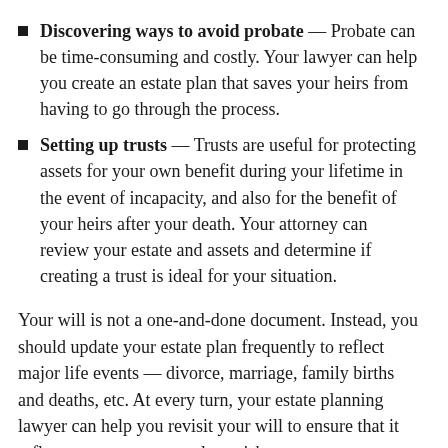Discovering ways to avoid probate — Probate can be time-consuming and costly. Your lawyer can help you create an estate plan that saves your heirs from having to go through the process.
Setting up trusts — Trusts are useful for protecting assets for your own benefit during your lifetime in the event of incapacity, and also for the benefit of your heirs after your death. Your attorney can review your estate and assets and determine if creating a trust is ideal for your situation.
Your will is not a one-and-done document. Instead, you should update your estate plan frequently to reflect major life events — divorce, marriage, family births and deaths, etc. At every turn, your estate planning lawyer can help you revisit your will to ensure that it reflects your most recent last wishes.